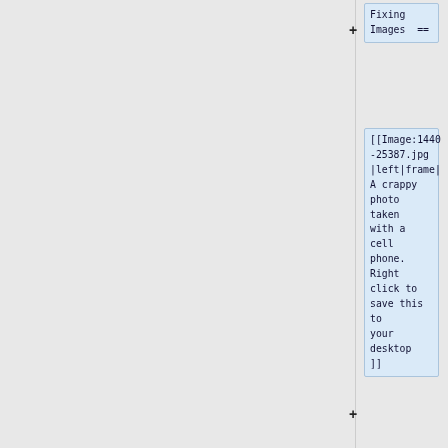+ Fixing Images ==
[[Image:1440-25387.jpg|left|frame|A crappy photo taken with a cell phone. Right click to save this to your desktop]]
+
* [http://docs.gimp.org/en/ch07s05s06.html Color I...